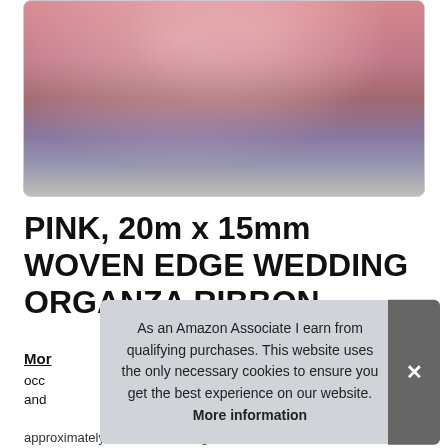[Figure (photo): Close-up photo of a pink woven edge organza ribbon spool, blurry background with purple and grey tones]
PINK, 20m x 15mm WOVEN EDGE WEDDING ORGANZA RIBBON
Mor
occ and
[Figure (infographic): Cookie consent banner overlay: 'As an Amazon Associate I earn from qualifying purchases. This website uses the only necessary cookies to ensure you get the best experience on our website. More information' with a close (×) button]
approximately 20 metres in length and 1.5mm in width. Ribbon